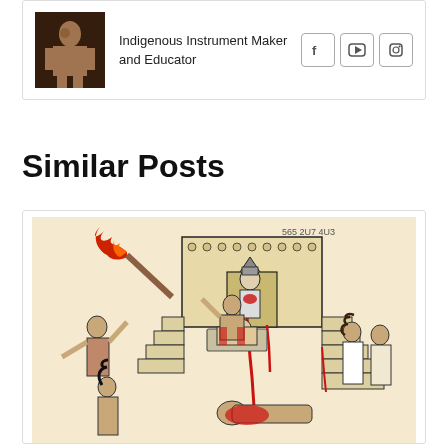[Figure (photo): Profile photo of a person - Indigenous Instrument Maker and Educator, with social media icons (Facebook, YouTube, Instagram)]
Indigenous Instrument Maker and Educator
Similar Posts
[Figure (illustration): Aztec or Mesoamerican codex-style illustration depicting a human sacrifice ritual on temple steps, with figures in traditional attire, rendered in red and black on tan/beige background]